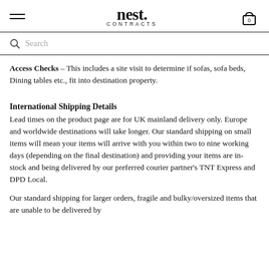nest. CONTRACTS
Search
Access Checks – This includes a site visit to determine if sofas, sofa beds, Dining tables etc., fit into destination property.
International Shipping Details
Lead times on the product page are for UK mainland delivery only. Europe and worldwide destinations will take longer. Our standard shipping on small items will mean your items will arrive with you within two to nine working days (depending on the final destination) and providing your items are in-stock and being delivered by our preferred courier partner's TNT Express and DPD Local.
Our standard shipping for larger orders, fragile and bulky/oversized items that are unable to be delivered by